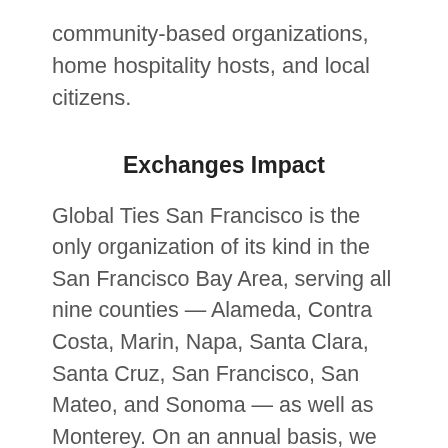community-based organizations, home hospitality hosts, and local citizens.
Exchanges Impact
Global Ties San Francisco is the only organization of its kind in the San Francisco Bay Area, serving all nine counties — Alameda, Contra Costa, Marin, Napa, Santa Clara, Santa Cruz, San Francisco, San Mateo, and Sonoma — as well as Monterey. On an annual basis, we host over 700 international visitors in the Bay Area for short-term professional and diplomatic exchanges, bringing approximately $1.1